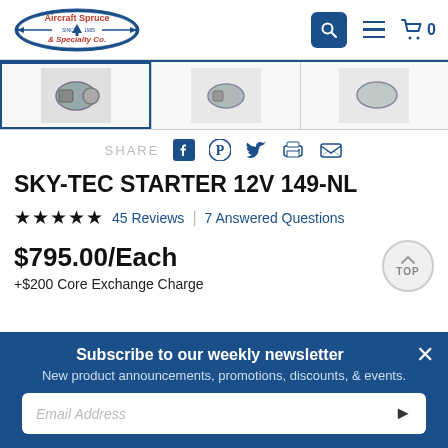Aircraft Spruce & Specialty Co. — Search, Menu, Cart (0)
[Figure (photo): Product image strip showing three thumbnail images of the Sky-Tec Starter 12V 149-NL, first image selected with blue border]
SHARE
SKY-TEC STARTER 12V 149-NL
★★★★★  45 Reviews  |  7 Answered Questions
$795.00/Each
+$200 Core Exchange Charge
Subscribe to our weekly newsletter
New product announcements, promotions, discounts, & events.
Email Address